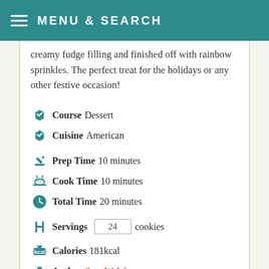MENU & SEARCH
creamy fudge filling and finished off with rainbow sprinkles. The perfect treat for the holidays or any other festive occasion!
Course  Dessert
Cuisine  American
Prep Time  10 minutes
Cook Time  10 minutes
Total Time  20 minutes
Servings  24  cookies
Calories  181kcal
Author  Sara Welch